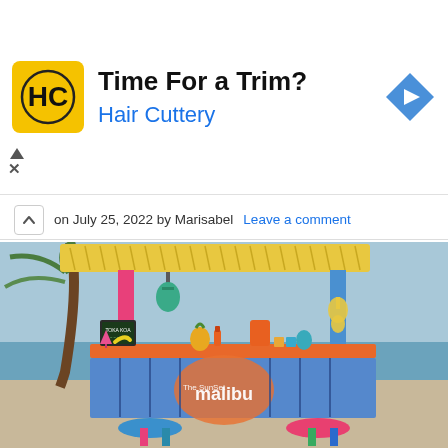[Figure (photo): Hair Cuttery advertisement banner with yellow/black HC logo, text 'Time For a Trim?' and 'Hair Cuttery' in blue, and a blue diamond navigation arrow icon on the right]
on July 25, 2022 by Marisabel   Leave a comment
[Figure (photo): Colorful Barbie-style Malibu beach tiki bar playset photographed on a real beach. The toy has a yellow thatched roof, pink and blue posts, an orange bar counter with miniature tropical accessories including a chalkboard menu, pineapple, blender, cups, lantern, and yellow guitar decoration. Two stools (blue and pink) are visible at the bottom. The background shows a real beach with palm tree and ocean.]